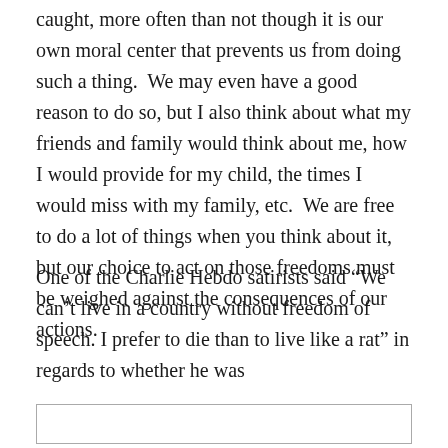caught, more often than not though it is our own moral center that prevents us from doing such a thing.  We may even have a good reason to do so, but I also think about what my friends and family would think about me, how I would provide for my child, the times I would miss with my family, etc.  We are free to do a lot of things when you think about it, but our choice to act on those freedoms must be weighed against the consequences of our actions.
One of the Charlie Hebdo satirists said “We can’t live in a country without freedom of speech. I prefer to die than to live like a rat” in regards to whether he was